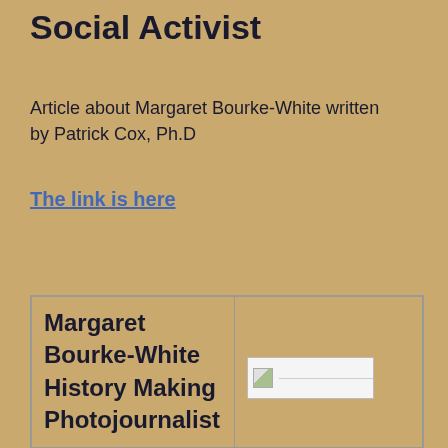Social Activist
Article about Margaret Bourke-White written by Patrick Cox, Ph.D
The link is here
| Margaret Bourke-White History Making Photojournalist | [image] |